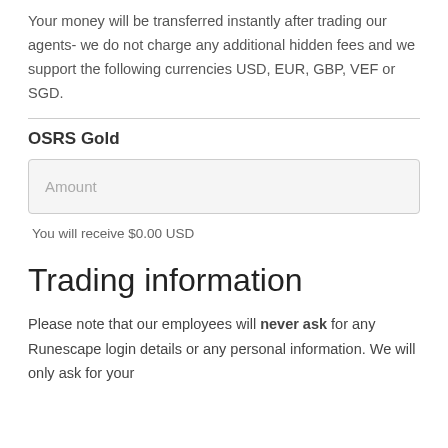Your money will be transferred instantly after trading our agents- we do not charge any additional hidden fees and we support the following currencies USD, EUR, GBP, VEF or SGD.
OSRS Gold
Amount
You will receive $0.00 USD
Trading information
Please note that our employees will never ask for any Runescape login details or any personal information. We will only ask for your